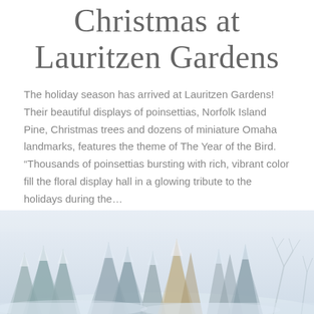Christmas at Lauritzen Gardens
The holiday season has arrived at Lauritzen Gardens! Their beautiful displays of poinsettias, Norfolk Island Pine, Christmas trees and dozens of miniature Omaha landmarks, features the theme of The Year of the Bird. “Thousands of poinsettias bursting with rich, vibrant color fill the floral display hall in a glowing tribute to the holidays during the…
READ MORE
[Figure (photo): Winter scene with snow-covered evergreen trees and bare trees against a white sky]